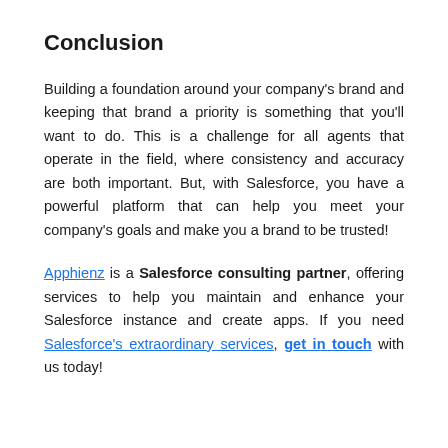Conclusion
Building a foundation around your company's brand and keeping that brand a priority is something that you'll want to do. This is a challenge for all agents that operate in the field, where consistency and accuracy are both important. But, with Salesforce, you have a powerful platform that can help you meet your company's goals and make you a brand to be trusted!
Apphienz is a Salesforce consulting partner, offering services to help you maintain and enhance your Salesforce instance and create apps. If you need Salesforce's extraordinary services, get in touch with us today!